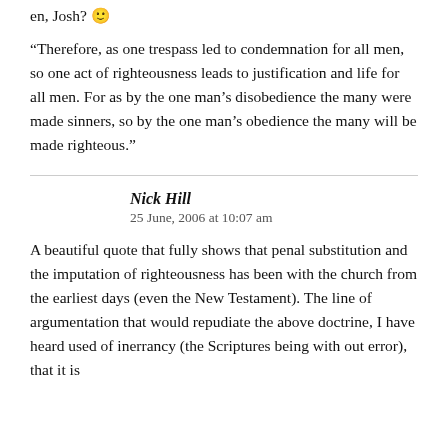en, Josh? 🙂
“Therefore, as one trespass led to condemnation for all men, so one act of righteousness leads to justification and life for all men. For as by the one man’s disobedience the many were made sinners, so by the one man’s obedience the many will be made righteous.”
Nick Hill
25 June, 2006 at 10:07 am
A beautiful quote that fully shows that penal substitution and the imputation of righteousness has been with the church from the earliest days (even the New Testament). The line of argumentation that would repudiate the above doctrine, I have heard used of inerrancy (the Scriptures being with out error), that it is